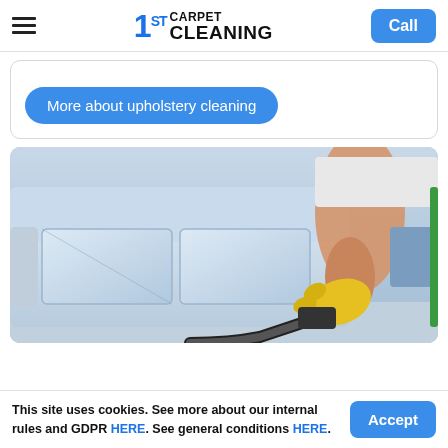1ST CARPET CLEANING — Call
More about upholstery cleaning
[Figure (photo): A person wearing yellow rubber gloves cleaning a light blue sofa with a vacuum/steam cleaner hose.]
This site uses cookies. See more about our internal rules and GDPR HERE. See general conditions HERE.